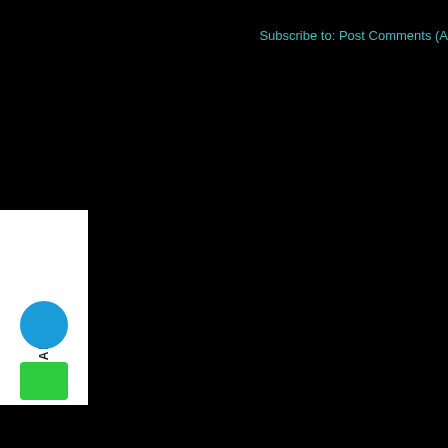Subscribe to: Post Comments (A
[Figure (screenshot): Social share widget with 'SHARE' label written vertically, a blue circle icon (Twitter/social), and a green square icon below, positioned at left edge of page on black background]